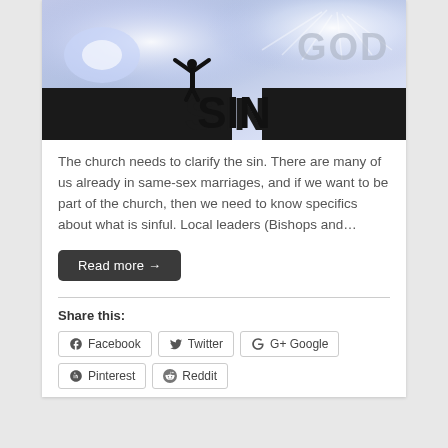[Figure (photo): Inspirational image showing a silhouette of a person with arms raised on a cliff edge, with a bright sky and clouds. The word 'GOD' appears in the upper right in light gray text, and the word 'SIN' appears in large bold black text in the lower center, overlaid on a dark rocky surface. The image depicts a gap or chasm labeled SIN between two cliff edges.]
The church needs to clarify the sin. There are many of us already in same-sex marriages, and if we want to be part of the church, then we need to know specifics about what is sinful. Local leaders (Bishops and…
Read more →
Share this:
Facebook
Twitter
Google
Pinterest
Reddit